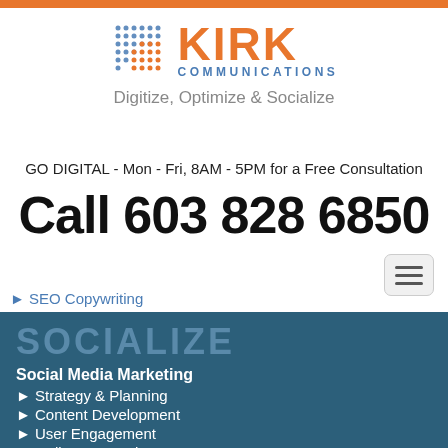[Figure (logo): Kirk Communications logo with dot-grid icon, orange KIRK text, blue COMMUNICATIONS text, and tagline Digitize, Optimize & Socialize]
GO DIGITAL - Mon - Fri, 8AM - 5PM for a Free Consultation
Call 603 828 6850
SEO Copywriting
SOCIALIZE
Social Media Marketing
Strategy & Planning
Content Development
User Engagement
Online Reputation Management